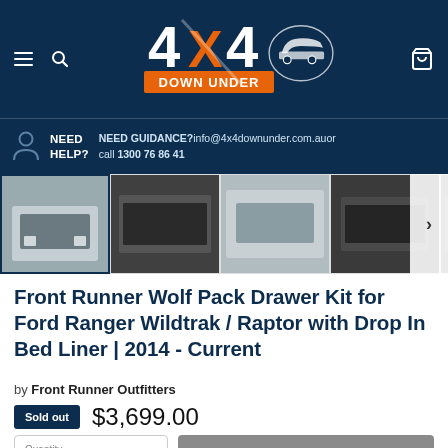4x4 Down Under — Navigation header with hamburger menu, search icon, logo, and cart icon
NEED HELP? NEED GUIDANCE? info@4x4downunder.com.au or call 1300 76 86 41
[Figure (photo): Thumbnail strip of product images for Front Runner Wolf Pack Drawer Kit — 5 thumbnails showing drawer kit installed in Ford Ranger, with navigation arrow]
Front Runner Wolf Pack Drawer Kit for Ford Ranger Wildtrak / Raptor with Drop In Bed Liner | 2014 - Current
by Front Runner Outfitters
Sold out  $3,699.00
Quantity 1  Sold out